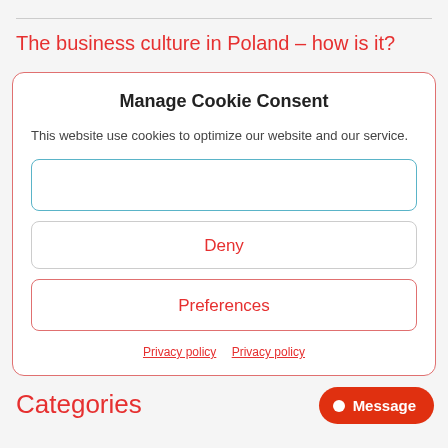The business culture in Poland – how is it?
Manage Cookie Consent
This website use cookies to optimize our website and our service.
Deny
Preferences
Privacy policy   Privacy policy
Categories
[Figure (other): Message button (chat widget) with orange-red background]